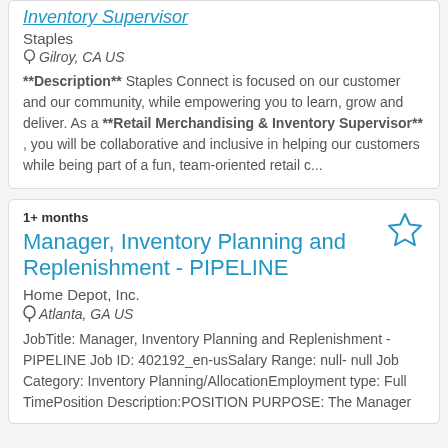Inventory Supervisor
Staples
Gilroy, CA US
**Description** Staples Connect is focused on our customer and our community, while empowering you to learn, grow and deliver. As a **Retail Merchandising & Inventory Supervisor** , you will be collaborative and inclusive in helping our customers while being part of a fun, team-oriented retail c...
1+ months
Manager, Inventory Planning and Replenishment - PIPELINE
Home Depot, Inc.
Atlanta, GA US
JobTitle: Manager, Inventory Planning and Replenishment - PIPELINE Job ID: 402192_en-usSalary Range: null- null Job Category: Inventory Planning/AllocationEmployment type: Full TimePosition Description:POSITION PURPOSE: The Manager